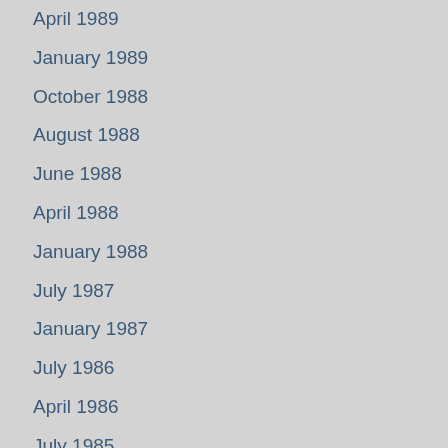April 1989
January 1989
October 1988
August 1988
June 1988
April 1988
January 1988
July 1987
January 1987
July 1986
April 1986
July 1985
October 1984
April 1984
October 1983
September 1983